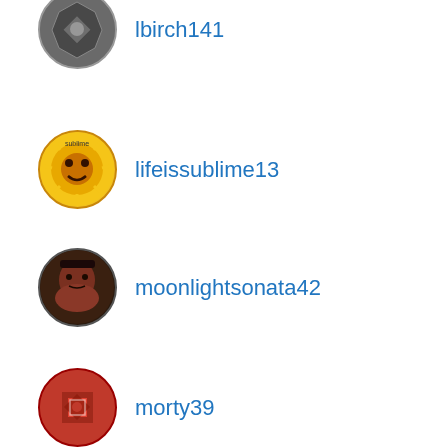lbirch141
lifeissublime13
moonlightsonata42
morty39
myrtleview
neweditionlover
(partial)